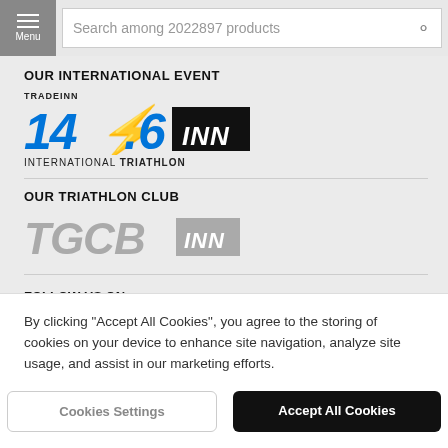Menu | Search among 2022897 products
OUR INTERNATIONAL EVENT
[Figure (logo): Tradeinn 140.6 INN International Triathlon logo in blue and black]
OUR TRIATHLON CLUB
[Figure (logo): TGCB INN triathlon club logo in gray]
FOLLOW US ON
By clicking “Accept All Cookies”, you agree to the storing of cookies on your device to enhance site navigation, analyze site usage, and assist in our marketing efforts.
Cookies Settings | Accept All Cookies